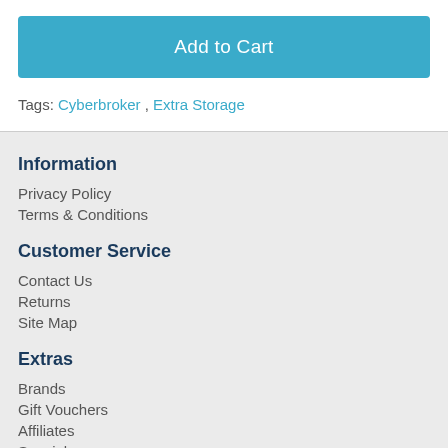Add to Cart
Tags: Cyberbroker, Extra Storage
Information
Privacy Policy
Terms & Conditions
Customer Service
Contact Us
Returns
Site Map
Extras
Brands
Gift Vouchers
Affiliates
Specials